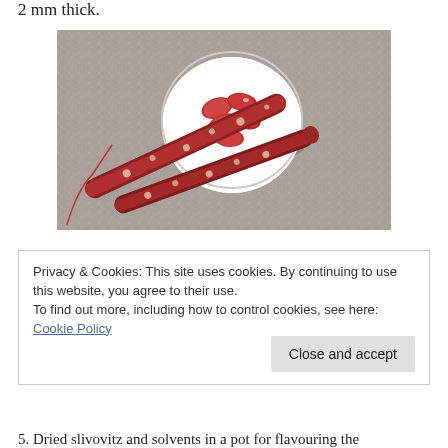2 mm thick.
[Figure (photo): Photo of two dried sausage sticks (Chinese dried sausage/pepperoni-style) lying on a grey speckled stone surface, with a small white ceramic bowl in the background containing sliced red/pink sausage pieces. A red string is attached to one of the sausage sticks.]
Privacy & Cookies: This site uses cookies. By continuing to use this website, you agree to their use.
To find out more, including how to control cookies, see here: Cookie Policy

[Close and accept]
5. Dried slivovitz and solvents in a pot for flavouring the